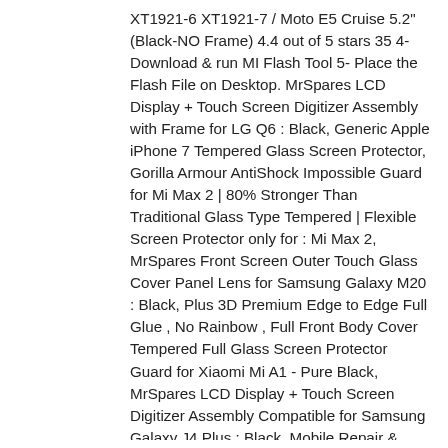XT1921-6 XT1921-7 / Moto E5 Cruise 5.2" (Black-NO Frame) 4.4 out of 5 stars 35 4- Download & run MI Flash Tool 5- Place the Flash File on Desktop. MrSpares LCD Display + Touch Screen Digitizer Assembly with Frame for LG Q6 : Black, Generic Apple iPhone 7 Tempered Glass Screen Protector, Gorilla Armour AntiShock Impossible Guard for Mi Max 2 | 80% Stronger Than Traditional Glass Type Tempered | Flexible Screen Protector only for : Mi Max 2, MrSpares Front Screen Outer Touch Glass Cover Panel Lens for Samsung Galaxy M20 : Black, Plus 3D Premium Edge to Edge Full Glue , No Rainbow , Full Front Body Cover Tempered Full Glass Screen Protector Guard for Xiaomi Mi A1 - Pure Black, MrSpares LCD Display + Touch Screen Digitizer Assembly Compatible for Samsung Galaxy J4 Plus : Black. Mobile Repair & Spare Parts Mobile Repair & Spare Parts. 2004 - Xiaomi Mi 4i 1080 x 1920 pixels Gives crystal clear experience with the display. For Xiaomi Mi 4i LCD Display Touch Screen Digitizer Assembly Frame White RHNUS. Your recently viewed items and featured recommendations. Select the